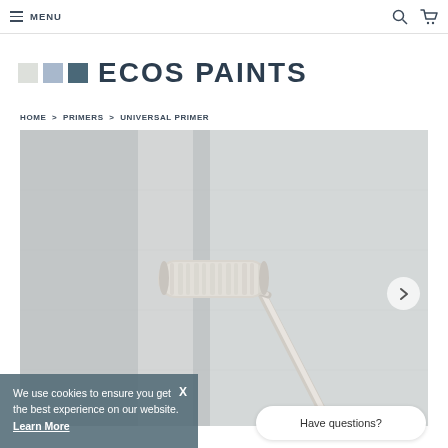MENU
[Figure (logo): ECOS PAINTS logo with three color squares (light gray, light blue, dark teal) followed by bold text ECOS PAINTS]
HOME > PRIMERS > UNIVERSAL PRIMER
[Figure (photo): Paint roller applying white/gray primer to a wall, showing a stripe of freshly applied primer]
We use cookies to ensure you get the best experience on our website. Learn More
Have questions?